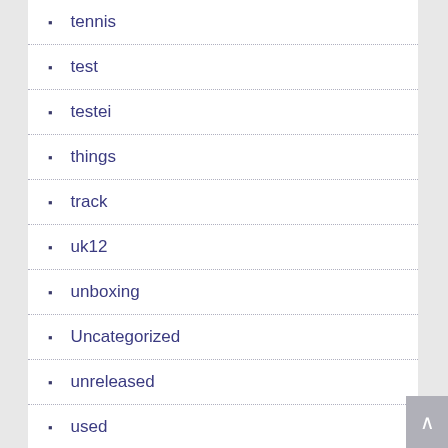tennis
test
testei
things
track
uk12
unboxing
Uncategorized
unreleased
used
vintage
volt
vomero
watch